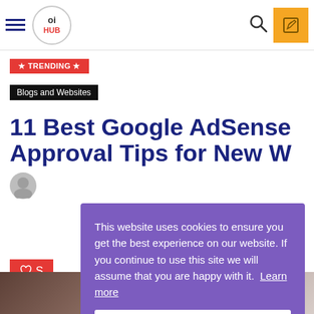oi HUB — navigation header with hamburger menu, logo, search icon, and edit button
★ TRENDING ★
Blogs and Websites
11 Best Google AdSense Approval Tips for New Websites
This website uses cookies to ensure you get the best experience on our website. If you continue to use this site we will assume that you are happy with it. Learn more
Got it